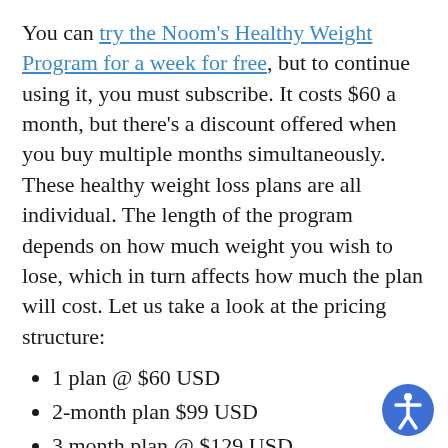You can try the Noom's Healthy Weight Program for a week for free, but to continue using it, you must subscribe. It costs $60 a month, but there's a discount offered when you buy multiple months simultaneously. These healthy weight loss plans are all individual. The length of the program depends on how much weight you wish to lose, which in turn affects how much the plan will cost. Let us take a look at the pricing structure:
1 plan @ $60 USD
2-month plan $99 USD
3 month plan @ $129 USD
4 month plan @ $139 USD
5 month plan @ $149 USD
6 month plan @ $159 USD
7 month plan @ $169 USD